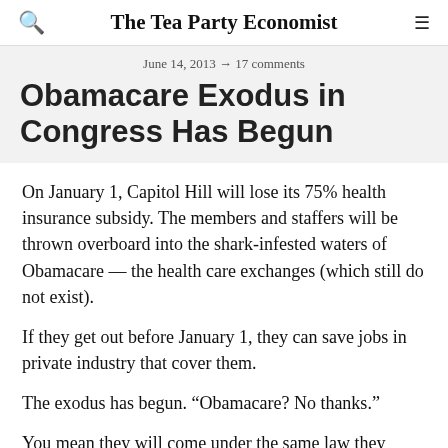The Tea Party Economist
June 14, 2013 → 17 comments
Obamacare Exodus in Congress Has Begun
On January 1, Capitol Hill will lose its 75% health insurance subsidy. The members and staffers will be thrown overboard into the shark-infested waters of Obamacare — the health care exchanges (which still do not exist).
If they get out before January 1, they can save jobs in private industry that cover them.
The exodus has begun. “Obamacare? No thanks.”
You mean they will come under the same law they